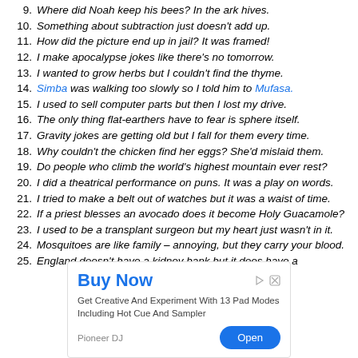9. Where did Noah keep his bees? In the ark hives.
10. Something about subtraction just doesn't add up.
11. How did the picture end up in jail? It was framed!
12. I make apocalypse jokes like there's no tomorrow.
13. I wanted to grow herbs but I couldn't find the thyme.
14. Simba was walking too slowly so I told him to Mufasa.
15. I used to sell computer parts but then I lost my drive.
16. The only thing flat-earthers have to fear is sphere itself.
17. Gravity jokes are getting old but I fall for them every time.
18. Why couldn't the chicken find her eggs? She'd mislaid them.
19. Do people who climb the world's highest mountain ever rest?
20. I did a theatrical performance on puns. It was a play on words.
21. I tried to make a belt out of watches but it was a waist of time.
22. If a priest blesses an avocado does it become Holy Guacamole?
23. I used to be a transplant surgeon but my heart just wasn't in it.
24. Mosquitoes are like family – annoying, but they carry your blood.
25. England doesn't have a kidney bank but it does have a
[Figure (other): Advertisement banner: Buy Now - Get Creative And Experiment With 13 Pad Modes Including Hot Cue And Sampler. Pioneer DJ. Open button.]